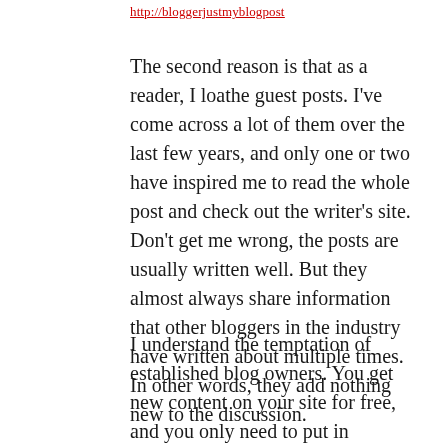http://bloggerjustmyblogpost
The second reason is that as a reader, I loathe guest posts. I've come across a lot of them over the last few years, and only one or two have inspired me to read the whole post and check out the writer's site. Don't get me wrong, the posts are usually written well. But they almost always share information that other bloggers in the industry have written about multiple times. In other words, they add nothing new to the discussion.
I understand the temptation of established blog owners. You get new content on your site for free, and you only need to put in minimal work (or no work if you have an editor). But when I come back to a blog I enjoy, I'm interested in